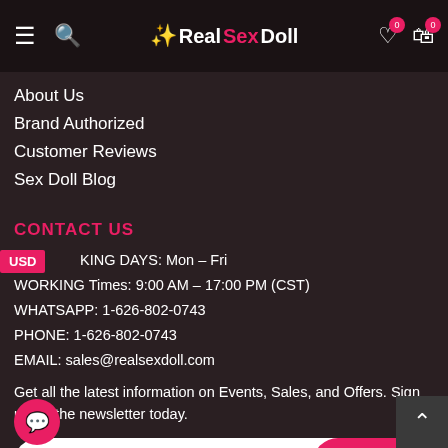RealSexDoll — navigation header with hamburger, search, logo, wishlist(0), cart(0)
About Us
Brand Authorized
Customer Reviews
Sex Doll Blog
CONTACT US
WORKING DAYS: Mon – Fri
WORKING Times: 9:00 AM – 17:00 PM (CST)
WHATSAPP: 1-626-802-0743
PHONE: 1-626-802-0743
EMAIL: sales@realsexdoll.com
Get all the latest information on Events, Sales, and Offers. Sign up for the newsletter today.
Email address [Subscribe button]